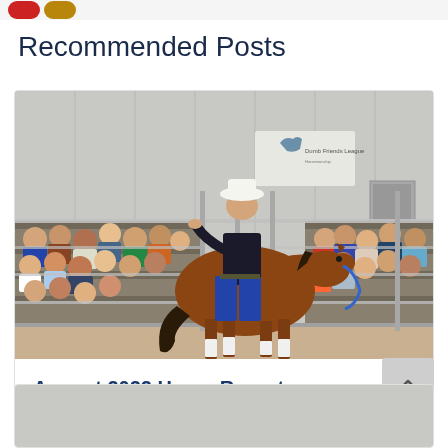Recommended Posts
[Figure (photo): A person in a black shirt, jeans, and white cowboy hat riding a chestnut horse in an indoor arena. Metal bleachers with spectators are visible behind a metal pipe fence. A sign on the metal building wall reads 'Dumb Friends League'.]
August 2022 Horse Report